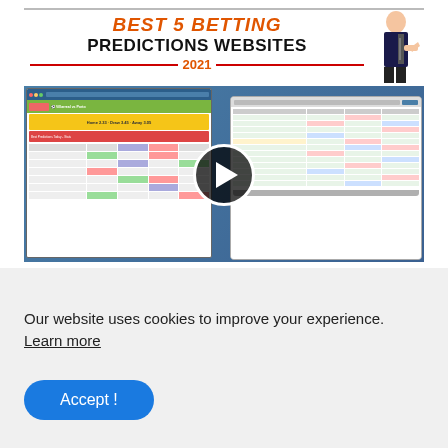[Figure (screenshot): Video thumbnail for 'Best 5 Betting Predictions Websites 2021' showing a play button overlay on a composite image of sports betting websites. Left side shows a mobile/tablet screenshot of a betting predictions site with green highlighted rows and match odds. Right side shows a laptop displaying a spreadsheet-style betting site with colored cells. A man in a suit points at the title text. Title reads 'BEST 5 BETTING PREDICTIONS WEBSITES 2021'.]
Our website uses cookies to improve your experience. Learn more
Accept !